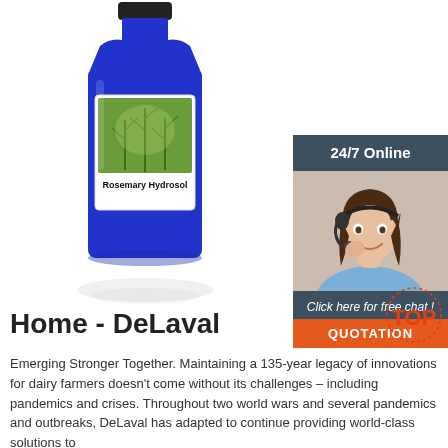[Figure (photo): Blue glass bottle labeled 'Rosemary Hydrosol' with a green label showing rosemary herb plants]
[Figure (photo): Chat widget banner: '24/7 Online' header, photo of smiling woman with headset, 'Click here for free chat!' text, orange QUOTATION button]
[Figure (logo): Red TOP badge/logo watermark in bottom right area]
Home - DeLaval
Emerging Stronger Together. Maintaining a 135-year legacy of innovations for dairy farmers doesn't come without its challenges – including pandemics and crises. Throughout two world wars and several pandemics and outbreaks, DeLaval has adapted to continue providing world-class solutions to